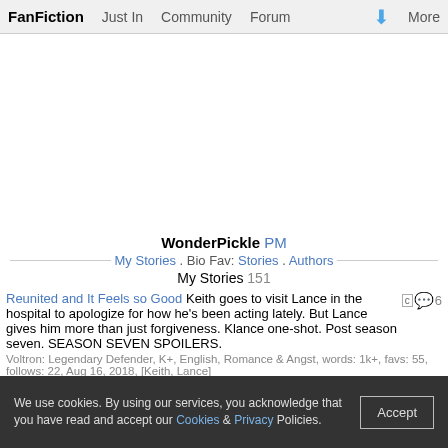FanFiction  Just In  Community  Forum  More
WonderPickle PM
My Stories . Bio Fav: Stories . Authors
My Stories 151
Reunited and It Feels so Good Keith goes to visit Lance in the hospital to apologize for how he's been acting lately. But Lance gives him more than just forgiveness. Klance one-shot. Post season seven. SEASON SEVEN SPOILERS.
Voltron: Legendary Defender, K+, English, Romance & Angst, words: 1k+, favs: 55, follows: 22, Aug 16, 2018, [Keith, Lance]
Put Me Back Together » Keith has been in love with Lance since...forever. But what he feels doesn't matter. What matters is how Lance feels. And right now, after this whole thing with Allura and Lotor, Lance is kind of a mess. Keith decides to help him move on. Along the way, Lance might just develop feelings for someone else. And it might just be Keith. Klance. Post season six. Season six spoilers.
Voltron: Legendary Defender, T, English, Romance & Hurt/Comfort,
We use cookies. By using our services, you acknowledge that you have read and accept our Cookies & Privacy Policies.  Accept